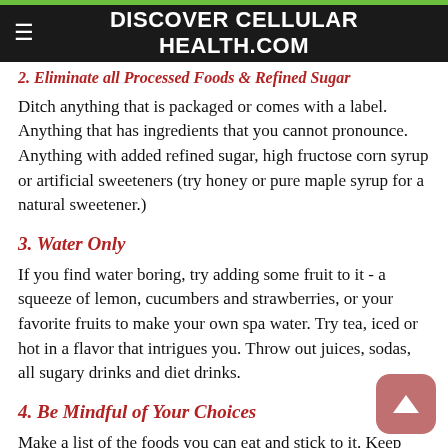DISCOVER CELLULAR HEALTH.COM
2. Eliminate all Processed Foods & Refined Sugar
Ditch anything that is packaged or comes with a label. Anything that has ingredients that you cannot pronounce. Anything with added refined sugar, high fructose corn syrup or artificial sweeteners (try honey or pure maple syrup for a natural sweetener.)
3. Water Only
If you find water boring, try adding some fruit to it - a squeeze of lemon, cucumbers and strawberries, or your favorite fruits to make your own spa water.  Try tea, iced or hot in a flavor that intrigues you. Throw out juices, sodas, all sugary drinks and diet drinks.
4. Be Mindful of Your Choices
Make a list of the foods you can eat and stick to it. Keep you list in your phone, on your fridge, print it out and take it...